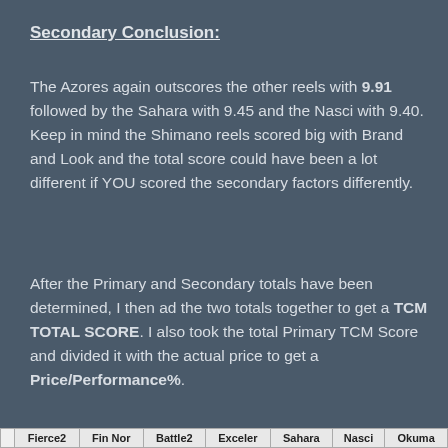Secondary Conclusion:
The Azores again outscores the other reels with 9.91 followed by the Sahara with 9.45 and the Nasci with 9.40. Keep in mind the Shimano reels scored big with Brand and Look and the total score could have been a lot different if YOU scored the secondary factors differently.
After the Primary and Secondary totals have been determined, I then ad the two totals together to get a TCM TOTAL SCORE. I also took the total Primary TCM Score and divided it with the actual price to get a Price/Performance%.
|  | Fierce2 | Fin Nor | Battle2 | Exceler | Sahara | Nasci | Okuma |
| --- | --- | --- | --- | --- | --- | --- | --- |